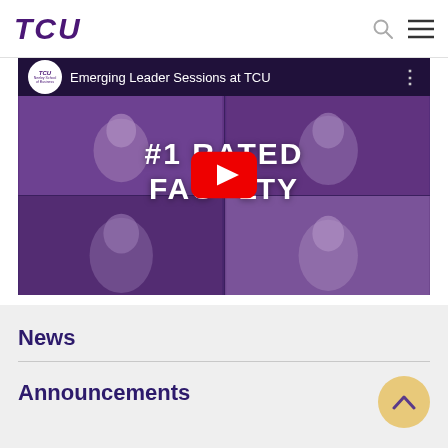TCU
[Figure (screenshot): YouTube video thumbnail for 'Emerging Leader Sessions at TCU' from TCU Neeley School of Business. Shows a 2x2 video call grid of people with purple overlay and text '#1 RATED FACULTY' overlaid. A red YouTube play button is centered on the thumbnail.]
News
Announcements